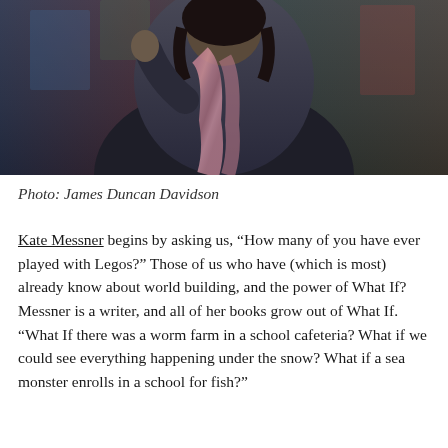[Figure (photo): A person wearing a black outfit with a colorful pink/purple scarf gesturing on what appears to be a TED-style stage with a colorful background]
Photo: James Duncan Davidson
Kate Messner begins by asking us, “How many of you have ever played with Legos?” Those of us who have (which is most) already know about world building, and the power of What If? Messner is a writer, and all of her books grow out of What If. “What If there was a worm farm in a school cafeteria? What if we could see everything happening under the snow? What if a sea monster enrolls in a school for fish?”